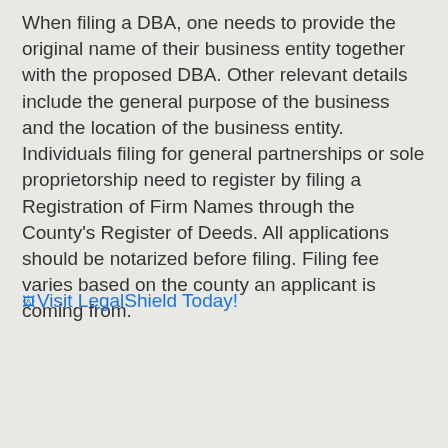When filing a DBA, one needs to provide the original name of their business entity together with the proposed DBA. Other relevant details include the general purpose of the business and the location of the business entity. Individuals filing for general partnerships or sole proprietorship need to register by filing a Registration of Firm Names through the County's Register of Deeds. All applications should be notarized before filing. Filing fee varies based on the county an applicant is coming from.
Visit LegalShield Today!